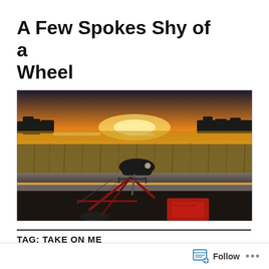A Few Spokes Shy of a Wheel
[Figure (photo): A bicycle leaning against a wooden fence railing at sunset, with a marsh landscape and orange/yellow sky in the background. The bike has a black saddle bag and red panniers.]
TAG: TAKE ON ME
Follow ...